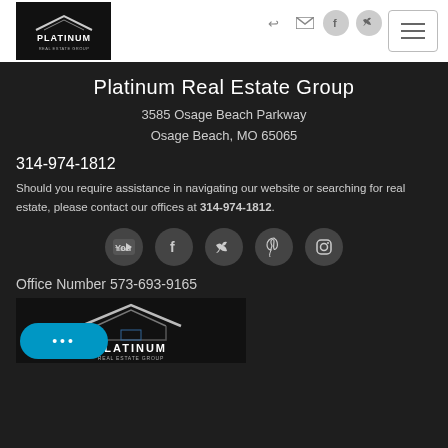[Figure (logo): Platinum Real Estate Group logo — white text on black background]
[Figure (infographic): Top-right navigation icons: sign-in arrow, envelope, Facebook circle, Twitter circle, and hamburger menu button]
Platinum Real Estate Group
3585 Osage Beach Parkway
Osage Beach, MO 65065
314-974-1812
Should you require assistance in navigating our website or searching for real estate, please contact our offices at 314-974-1812.
[Figure (infographic): Row of five social media icon circles: YouTube, Facebook, Twitter, Pinterest, Instagram]
Office Number 573-693-9165
[Figure (logo): Platinum Real Estate Group logo at bottom, white/silver house icon with PLATINUM text on dark background]
[Figure (infographic): Blue chat bubble button with ellipsis icon in bottom-left corner]